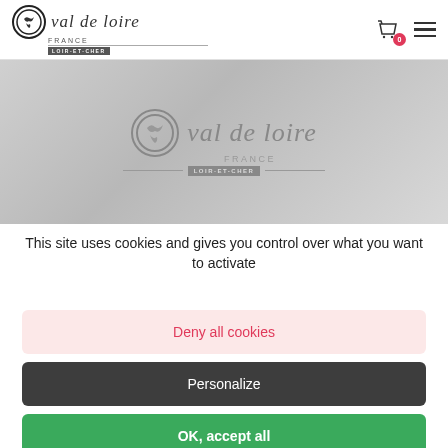[Figure (logo): Val de Loire France / Loir-et-Cher logo in header with shopping cart and hamburger menu]
[Figure (photo): Hero banner with greyscale Val de Loire France / Loir-et-Cher logo centered on grey gradient background]
This site uses cookies and gives you control over what you want to activate
Deny all cookies
Personalize
OK, accept all